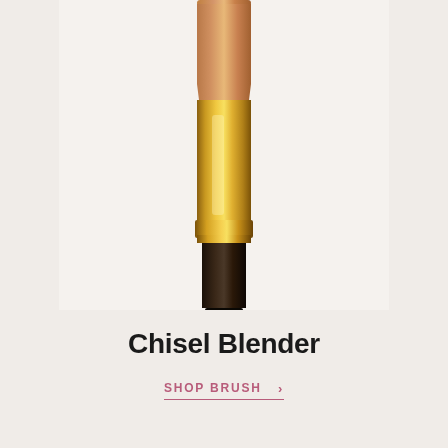[Figure (photo): A makeup chisel blender brush with brown bristles at the top, a shiny gold metallic ferrule/handle section in the middle, and a dark black handle at the bottom, shown vertically on a light beige background]
Chisel Blender
SHOP BRUSH >